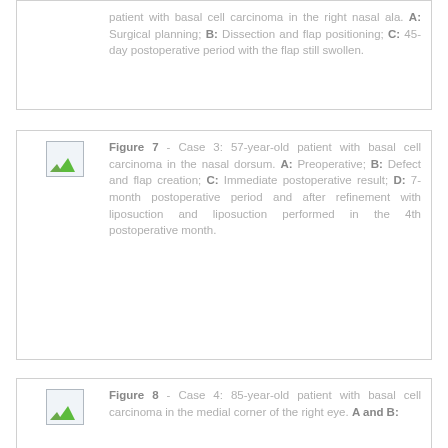patient with basal cell carcinoma in the right nasal ala. A: Surgical planning; B: Dissection and flap positioning; C: 45-day postoperative period with the flap still swollen.
[Figure (photo): Figure 7 - Case 3: 57-year-old patient with basal cell carcinoma in the nasal dorsum. A: Preoperative; B: Defect and flap creation; C: Immediate postoperative result; D: 7-month postoperative period and after refinement with liposuction and liposuction performed in the 4th postoperative month.]
Figure 7 - Case 3: 57-year-old patient with basal cell carcinoma in the nasal dorsum. A: Preoperative; B: Defect and flap creation; C: Immediate postoperative result; D: 7-month postoperative period and after refinement with liposuction and liposuction performed in the 4th postoperative month.
[Figure (photo): Figure 8 - Case 4: 85-year-old patient with basal cell carcinoma in the medial corner of the right eye. A and B:]
Figure 8 - Case 4: 85-year-old patient with basal cell carcinoma in the medial corner of the right eye. A and B: